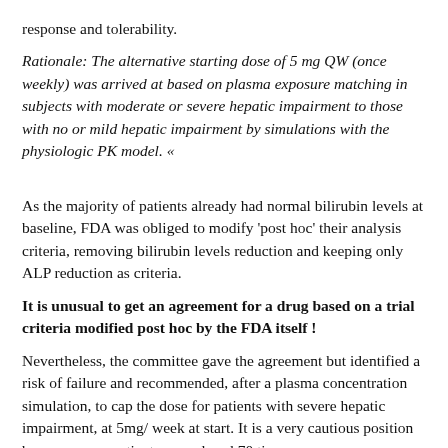response and tolerability.
Rationale: The alternative starting dose of 5 mg QW (once weekly) was arrived at based on plasma exposure matching in subjects with moderate or severe hepatic impairment to those with no or mild hepatic impairment by simulations with the physiologic PK model. «
As the majority of patients already had normal bilirubin levels at baseline, FDA was obliged to modify 'post hoc' their analysis criteria, removing bilirubin levels reduction and keeping only ALP reduction as criteria.
It is unusual to get an agreement for a drug based on a trial criteria modified post hoc by the FDA itself !
Nevertheless, the committee gave the agreement but identified a risk of failure and recommended, after a plasma concentration simulation, to cap the dose for patients with severe hepatic impairment, at 5mg/ week at start. It is a very cautious position because some patients were dosed 70 times ...